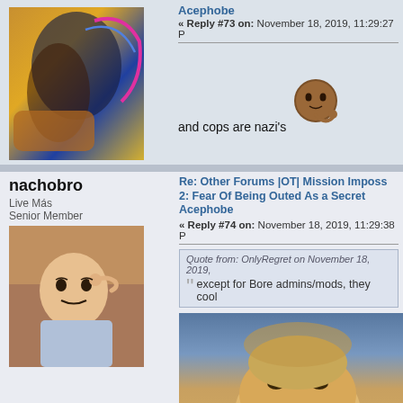[Figure (photo): Colorful abstract/sneaker image used as user avatar in top post]
Acephobe
« Reply #73 on: November 18, 2019, 11:29:27 P
[Figure (photo): Thinking man emoji/meme image]
and cops are nazi's
nachobro
Live Más
Senior Member
[Figure (photo): Man pointing finger to head meme image, avatar for nachobro]
Re: Other Forums |OT| Mission Imposs 2: Fear Of Being Outed As a Secret Acephobe
« Reply #74 on: November 18, 2019, 11:29:38 P
Quote from: OnlyRegret on November 18, 2019,
except for Bore admins/mods, they cool
[Figure (photo): Partial image of a person's face, cropped, bottom of page]